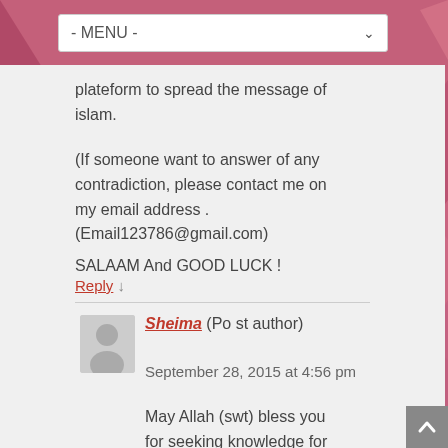- MENU -
plateform to spread the message of islam.
(If someone want to answer of any contradiction, please contact me on my email address . (Email123786@gmail.com)
SALAAM And GOOD LUCK !
Reply ↓
Sheima (Post author) September 28, 2015 at 4:56 pm
May Allah (swt) bless you for seeking knowledge for His